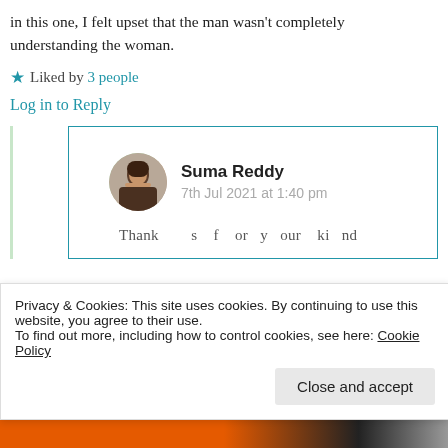in this one, I felt upset that the man wasn't completely understanding the woman.
★ Liked by 3 people
Log in to Reply
Suma Reddy
7th Jul 2021 at 1:40 pm
Tha...
Privacy & Cookies: This site uses cookies. By continuing to use this website, you agree to their use.
To find out more, including how to control cookies, see here: Cookie Policy
Close and accept